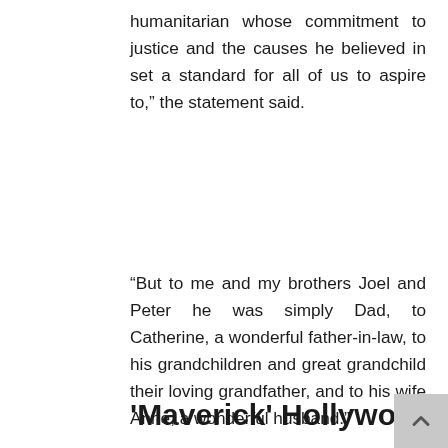humanitarian whose commitment to justice and the causes he believed in set a standard for all of us to aspire to,” the statement said.
“But to me and my brothers Joel and Peter he was simply Dad, to Catherine, a wonderful father-in-law, to his grandchildren and great grandchild their loving grandfather, and to his wife Anne, a wonderful husband.”
Read on...
'Maverick' Hollywood